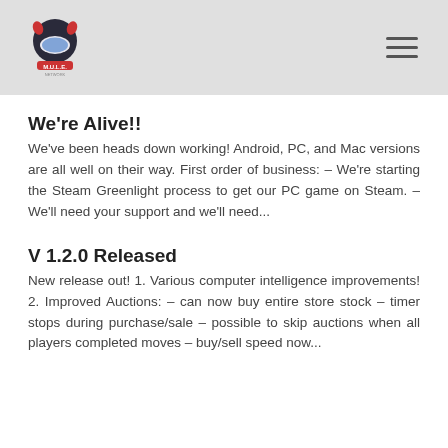MULE Network logo and navigation menu
We're Alive!!
We've been heads down working! Android, PC, and Mac versions are all well on their way. First order of business: – We're starting the Steam Greenlight process to get our PC game on Steam. – We'll need your support and we'll need...
V 1.2.0 Released
New release out! 1. Various computer intelligence improvements! 2. Improved Auctions: – can now buy entire store stock – timer stops during purchase/sale – possible to skip auctions when all players completed moves – buy/sell speed now...